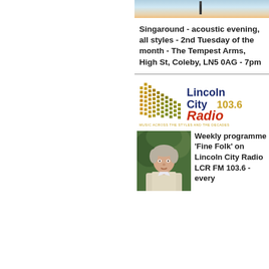[Figure (photo): Partial photo of a sunset/landscape scene, cropped at top of right column]
Singaround - acoustic evening, all styles - 2nd Tuesday of the month - The Tempest Arms, High St, Coleby, LN5 0AG - 7pm
[Figure (logo): Lincoln City Radio 103.6 logo with stylized equalizer bars graphic and tagline 'MUSIC ACROSS THE STYLES AND THE DECADES']
[Figure (photo): Portrait photo of a middle-aged man in a light jacket, outdoors with greenery background]
Weekly programme ‘Fine Folk’ on Lincoln City Radio LCR FM 103.6 - every